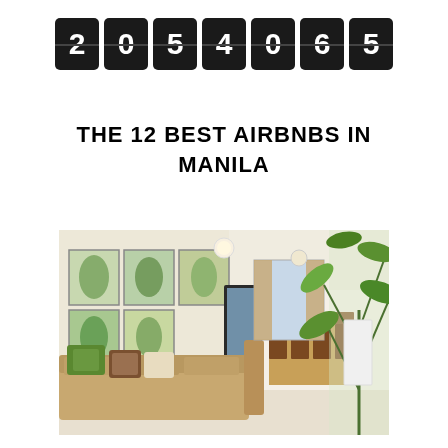2054065
THE 12 BEST AIRBNBS IN MANILA
[Figure (photo): Interior photo of a Manila Airbnb apartment showing a living room with a tan sectional sofa with green and patterned pillows, botanical art prints on the wall, a dining table with chairs in the background, and a large green plant on the right side.]